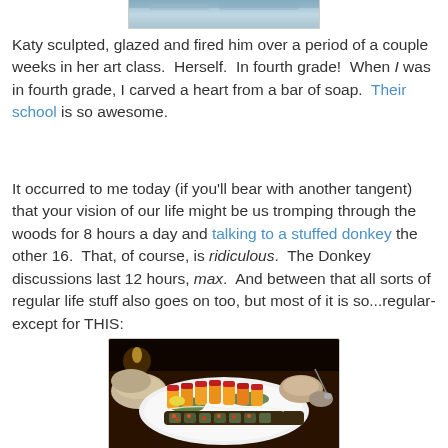[Figure (photo): Partial top portion of a photo visible at the top of the page, appears to be a winter/outdoor scene with blue-grey tones]
Katy sculpted, glazed and fired him over a period of a couple weeks in her art class.  Herself.  In fourth grade!  When I was in fourth grade, I carved a heart from a bar of soap.  Their school is so awesome.
It occurred to me today (if you'll bear with another tangent) that your vision of our life might be us tromping through the woods for 8 hours a day and talking to a stuffed donkey the other 16.  That, of course, is ridiculous.  The Donkey discussions last 12 hours, max.  And between that all sorts of regular life stuff also goes on too, but most of it is so...regular- except for THIS:
[Figure (photo): Photo of an elaborate sushi platter on a white plate, with colorful rolls topped with red fish roe and sauces, accompanied by bowls of rice and other dishes on a dark restaurant table]